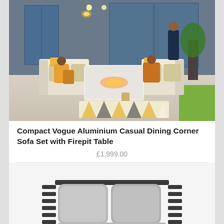[Figure (photo): Outdoor patio scene with a family relaxing on a white aluminium corner sofa set with beige cushions around a white firepit table. A colourful geometric rug is on the ground. Background shows a modern house exterior with plants and lighting.]
Compact Vogue Aluminium Casual Dining Corner Sofa Set with Firepit Table
£1,999.00
[Figure (photo): Close-up of a dark grey/charcoal aluminium lounge chair with thick light grey cushions, partially visible from below.]